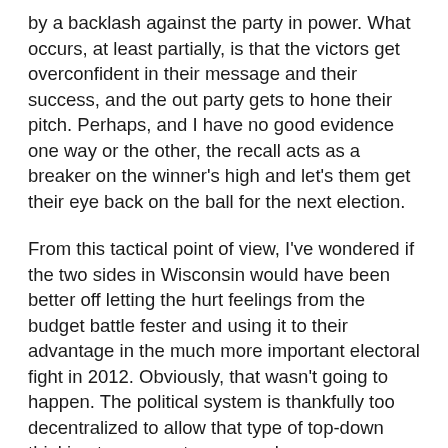by a backlash against the party in power. What occurs, at least partially, is that the victors get overconfident in their message and their success, and the out party gets to hone their pitch. Perhaps, and I have no good evidence one way or the other, the recall acts as a breaker on the winner's high and let's them get their eye back on the ball for the next election.
From this tactical point of view, I've wondered if the two sides in Wisconsin would have been better off letting the hurt feelings from the budget battle fester and using it to their advantage in the much more important electoral fight in 2012. Obviously, that wasn't going to happen. The political system is thankfully too decentralized to allow that type of top-down thinking to occur – too many players are involved that would benefit from the immediate impact of a recall.
Given that, how will the brutal Wisconsin Supreme Court election race, which is going into overtime, impact the recall fight? The two parties and outside groups have already dropped $3.5 million on this race – and now we got the lawyers coming in, so that figure is going way up. This